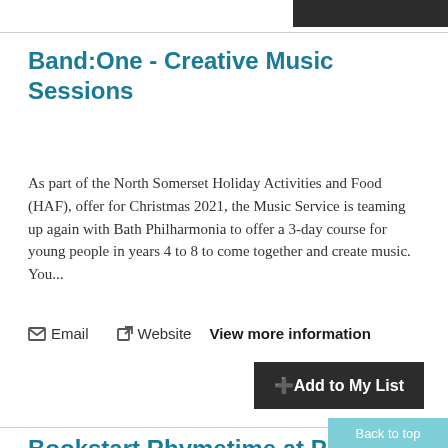Band:One - Creative Music Sessions
As part of the North Somerset Holiday Activities and Food (HAF), offer for Christmas 2021, the Music Service is teaming up again with Bath Philharmonia to offer a 3-day course for young people in years 4 to 8 to come together and create music.  You...
✉ Email   ↗ Website   View more information
+ Add to My List
Bookstart Rhymetime at Pill Library & Children's Centre